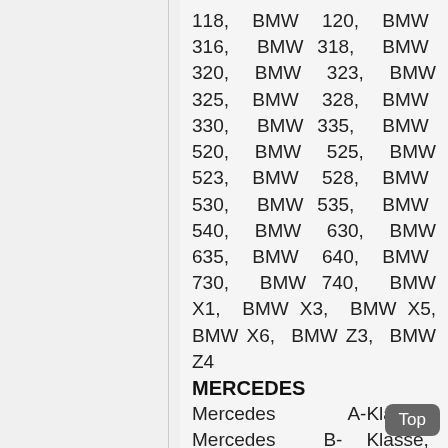118, BMW 120, BMW 316, BMW 318, BMW 320, BMW 323, BMW 325, BMW 328, BMW 330, BMW 335, BMW 520, BMW 525, BMW 523, BMW 528, BMW 530, BMW 535, BMW 540, BMW 630, BMW 635, BMW 640, BMW 730, BMW 740, BMW X1, BMW X3, BMW X5, BMW X6, BMW Z3, BMW Z4
MERCEDES
Mercedes A-Klasse, Mercedes B-Klasse, Mercedes C, Mercedes CL Klasse, Mercedes CLA-Klasse, Mercedes E-Klasse, Mercedes G, GL, GLA-Klasse, Mercedes S, SL, SLK-Klasse, Mercedes Viano, Mercedes W 203, Mercedes W 204, Mercedes W 205, Mercedes W 210,